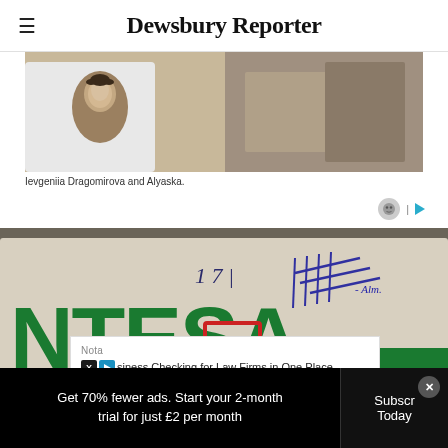Dewsbury Reporter
[Figure (photo): Photo of Ievgeniia Dragomirova and Alyaska — a person in a white t-shirt with a Mona Lisa print]
Ievgeniia Dragomirova and Alyaska.
[Figure (photo): Close-up photo of a document or card showing 'NTESA' logo text in green letters and handwritten signatures/numbers]
Nota
Redesigned Legal Banking, IOLTA Tracking, and Business Checking for Law Firms in One Place
Get 70% fewer ads. Start your 2-month trial for just £2 per month
Subscribe Today